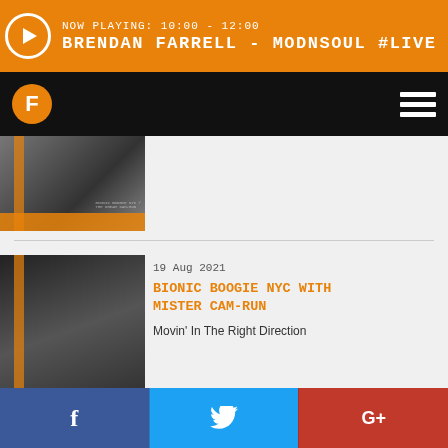NOW PLAYING: 10:00 - 12:00 BRENDAN FARRELL - MODNSOUL #LIVE
[Figure (screenshot): Album art thumbnail - partial view]
[Figure (photo): Album art for Bionic Boogie NYC with Mister Cam-Run showing night street scene]
19 Aug 2021
BIONIC BOOGIE NYC WITH MISTER CAM-RUN
Movin' In The Right Direction
f  t  G+